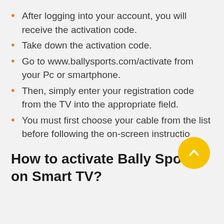After logging into your account, you will receive the activation code.
Take down the activation code.
Go to www.ballysports.com/activate from your Pc or smartphone.
Then, simply enter your registration code from the TV into the appropriate field.
You must first choose your cable from the list before following the on-screen instructions.
How to activate Bally Sports on Smart TV?